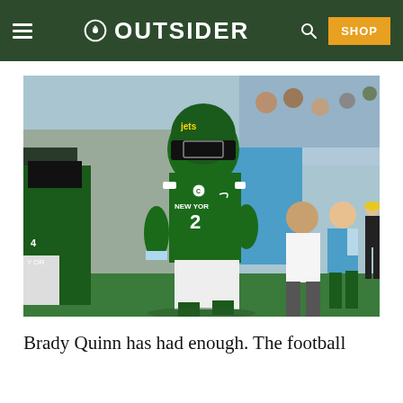OUTSIDER
[Figure (photo): New York Jets quarterback wearing green #2 jersey with C captain patch running onto field, with teammates and sideline staff visible in background]
Brady Quinn has had enough. The football